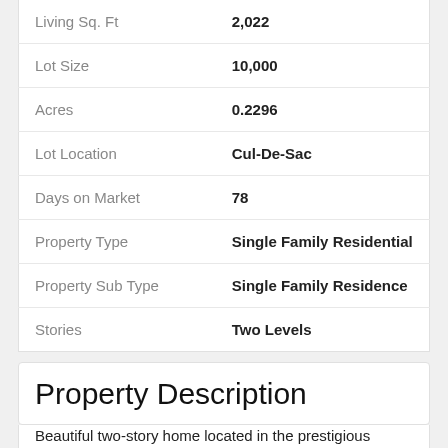| Field | Value |
| --- | --- |
| Living Sq. Ft | 2,022 |
| Lot Size | 10,000 |
| Acres | 0.2296 |
| Lot Location | Cul-De-Sac |
| Days on Market | 78 |
| Property Type | Single Family Residential |
| Property Sub Type | Single Family Residence |
| Stories | Two Levels |
Property Description
Beautiful two-story home located in the prestigious